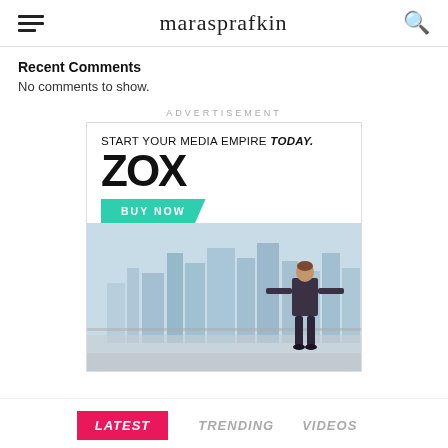marasprafkin
Recent Comments
No comments to show.
ADVERTISEMENT
[Figure (screenshot): ZOX media theme advertisement banner with text 'START YOUR MEDIA EMPIRE TODAY.', large ZOX logo, teal BUY NOW button, and background image of businessman overlooking city skyline from balcony]
LATEST  TRENDING  VIDEOS